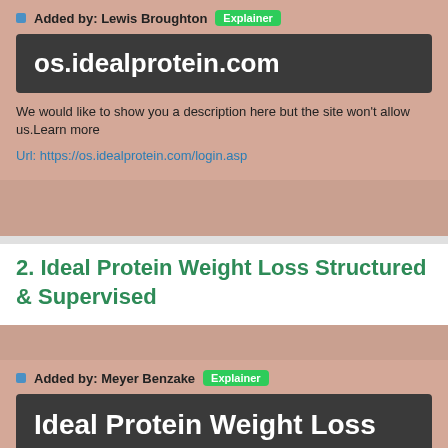Added by: Lewis Broughton  Explainer
[Figure (screenshot): Dark grey box showing os.idealprotein.com website title]
We would like to show you a description here but the site won't allow us.Learn more
Url: https://os.idealprotein.com/login.asp
2. Ideal Protein Weight Loss Structured & Supervised
Added by: Meyer Benzake  Explainer
[Figure (screenshot): Dark grey box showing Ideal Protein Weight Loss Structured & Supervised title]
Vegetarians can follow the Ideal Protein Weight Loss Protocol and can consume eggs, fish or tofu during their evening meal for their